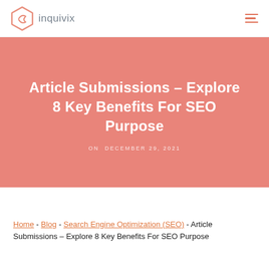inquivix
Article Submissions – Explore 8 Key Benefits For SEO Purpose
ON DECEMBER 29, 2021
Home - Blog - Search Engine Optimization (SEO) - Article Submissions – Explore 8 Key Benefits For SEO Purpose